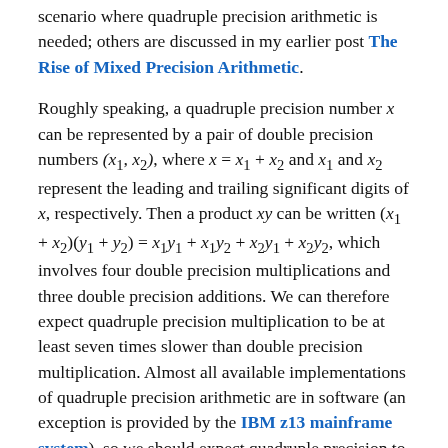scenario where quadruple precision arithmetic is needed; others are discussed in my earlier post The Rise of Mixed Precision Arithmetic.
Roughly speaking, a quadruple precision number x can be represented by a pair of double precision numbers (x1, x2), where x = x1 + x2 and x1 and x2 represent the leading and trailing significant digits of x, respectively. Then a product xy can be written (x1 + x2)(y1 + y2) = x1y1 + x1y2 + x2y1 + x2y2, which involves four double precision multiplications and three double precision additions. We can therefore expect quadruple precision multiplication to be at least seven times slower than double precision multiplication. Almost all available implementations of quadruple precision arithmetic are in software (an exception is provided by the IBM z13 mainframe system), so we should expect quadruple precision to be slower than the theoretical prediction would suggest. Bailey and Borwein